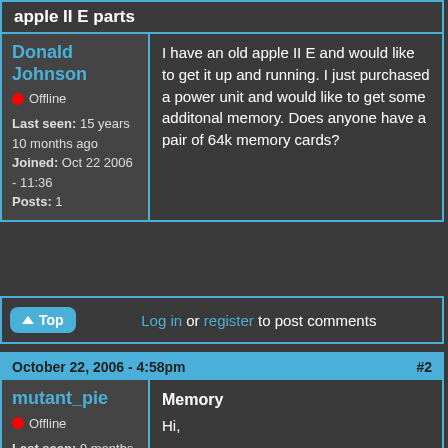apple II E parts
Donald Johnson
Offline
Last seen: 15 years 10 months ago
Joined: Oct 22 2006 - 11:36
Posts: 1
I have an old apple II E and would like to get it up and running. I just purchased a power unit and would like to get some additonal memory. Does anyone have a pair of 64k memory cards?
Log in or register to post comments
October 22, 2006 - 4:58pm  #2
Memory
mutant_pie
Offline
Last seen: 9 months 3 weeks ago
Joined: Dec 19 2003 - 18:53
Hi,
You can only use one standard 64k memory expansion card in a IIe to bring it up to 128k. For awhile, they